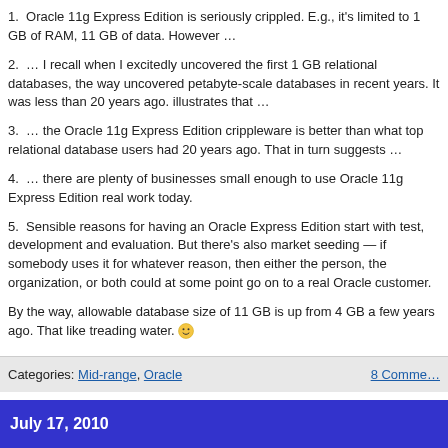1.  Oracle 11g Express Edition is seriously crippled. E.g., it's limited to 1 GB of RAM, 11 GB of data. However …
2.  … I recall when I excitedly uncovered the first 1 GB relational databases, the way uncovered petabyte-scale databases in recent years. It was less than 20 years ago. illustrates that …
3.  … the Oracle 11g Express Edition crippleware is better than what top relational database users had 20 years ago. That in turn suggests …
4.  … there are plenty of businesses small enough to use Oracle 11g Express Edition real work today.
5.  Sensible reasons for having an Oracle Express Edition start with test, development and evaluation. But there's also market seeding — if somebody uses it for whatever reason, then either the person, the organization, or both could at some point go on to a real Oracle customer.
By the way, allowable database size of 11 GB is up from 4 GB a few years ago. That like treading water. 🙂
Categories: Mid-range, Oracle    8 Comments
July 17, 2010